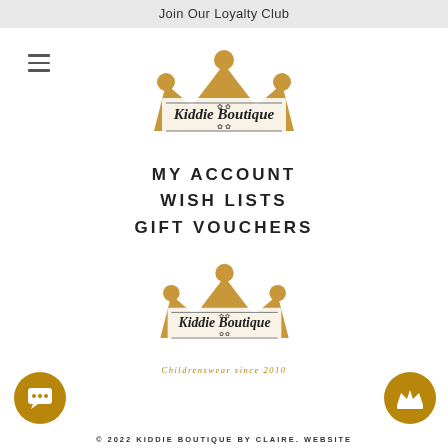Join Our Loyalty Club
[Figure (logo): Kiddie Boutique crown logo — gold/tan crown with script text 'Kiddie Boutique' inside]
MY ACCOUNT
WISH LISTS
GIFT VOUCHERS
[Figure (logo): Kiddie Boutique crown logo — gold/tan crown with script text 'Kiddie Boutique' and tagline 'Childrenswear since 2010']
Childrenswear since 2010
© 2022 KIDDIE BOUTIQUE BY CLAIRE. WEBSITE